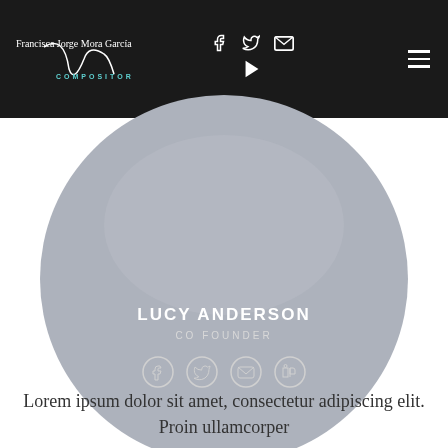Francisca Jorge Mora García COMPOSITOR
[Figure (photo): Circular profile photo placeholder for Lucy Anderson, Co Founder, with social media icons (Facebook, Twitter, Email, LinkedIn) overlaid at bottom]
LUCY ANDERSON
CO FOUNDER
Lorem ipsum dolor sit amet, consectetur adipiscing elit. Proin ullamcorper